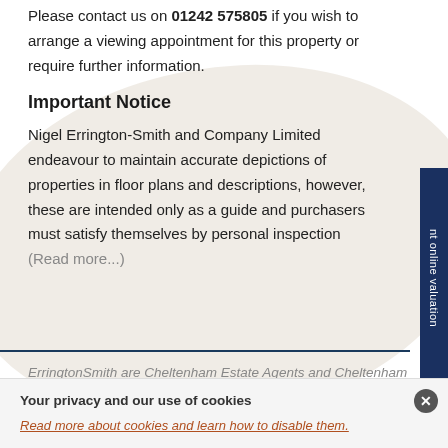Please contact us on 01242 575805 if you wish to arrange a viewing appointment for this property or require further information.
Important Notice
Nigel Errington-Smith and Company Limited endeavour to maintain accurate depictions of properties in floor plans and descriptions, however, these are intended only as a guide and purchasers must satisfy themselves by personal inspection (Read more...)
ErringtonSmith are Cheltenham Estate Agents and Cheltenham Lettings Agents and have property for sale
Your privacy and our use of cookies
Read more about cookies and learn how to disable them.